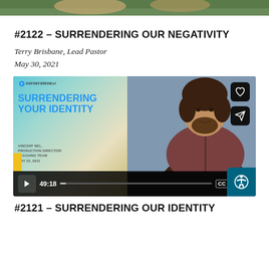[Figure (photo): Top cropped photo showing an outdoor/nature scene with trees]
#2122 – SURRENDERING OUR NEGATIVITY
Terry Brisbane, Lead Pastor
May 30, 2021
[Figure (screenshot): Video player thumbnail showing a church sermon titled 'Surrendering Your Identity' by Vincent Nel, Production Director/Teaching Team, May 23, 2021, with a bearded man visible. Video duration 49:18. Controls bar with play, progress, CC, settings, and fullscreen buttons. Heart and share action buttons on right side.]
#2121 – SURRENDERING OUR IDENTITY